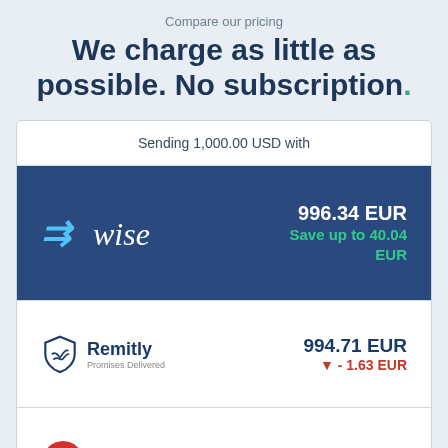Compare our pricing
We charge as little as possible. No subscription.
| Provider | Amount | Difference |
| --- | --- | --- |
| Sending 1,000.00 USD with |  |  |
| Wise | 996.34 EUR | Save up to 40.04 EUR |
| Remitly Promises Delivered | 994.71 EUR | ▼ - 1.63 EUR |
| MoneyGram | 993.40 EUR |  |